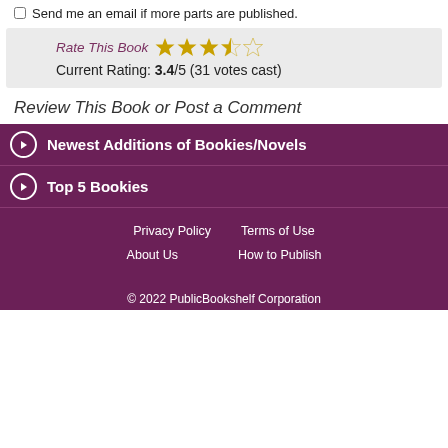Send me an email if more parts are published.
Rate This Book  Current Rating: 3.4/5 (31 votes cast)
Review This Book or Post a Comment
Newest Additions of Bookies/Novels
Top 5 Bookies
Privacy Policy   Terms of Use   About Us   How to Publish   © 2022 PublicBookshelf Corporation